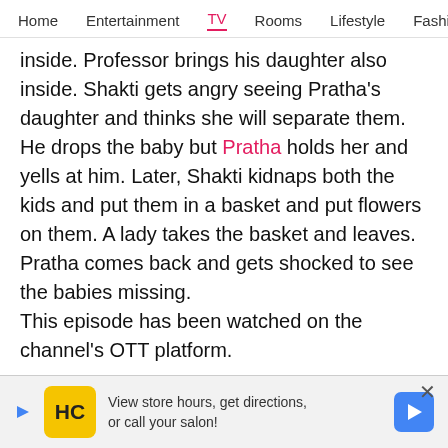Home  Entertainment  TV  Rooms  Lifestyle  Fashio
inside. Professor brings his daughter also inside. Shakti gets angry seeing Pratha's daughter and thinks she will separate them. He drops the baby but Pratha holds her and yells at him. Later, Shakti kidnaps both the kids and put them in a basket and put flowers on them. A lady takes the basket and leaves. Pratha comes back and gets shocked to see the babies missing.
This episode has been watched on the channel's OTT platform.
Also Read: Naagin 6, 21st August 2022, Written Update: Rishab and Pratha save the mob
[Figure (other): Advertisement banner: HC logo (yellow), text 'View store hours, get directions, or call your salon!', blue direction arrow icon]